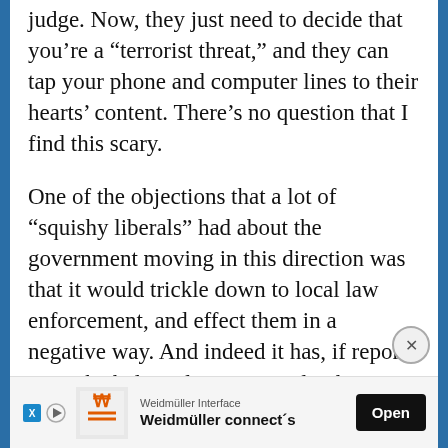judge.  Now, they just need to decide that you're a “terrorist threat,” and they can tap your phone and computer lines to their hearts’ content.  There’s no question that I find this scary.
One of the objections that a lot of “squishy liberals” had about the government moving in this direction was that it would trickle down to local law enforcement, and effect them in a negative way.  And indeed it has, if reports are to be believed.  For example, the blogger digby has recorded instance after instance of the police tasering people who were no threat whatsoever (including many deaths from this “non-lethal” weapon).
[Figure (other): Advertisement banner for Weidmüller Interface with logo, text 'Weidmüller connect´s', and Open button]